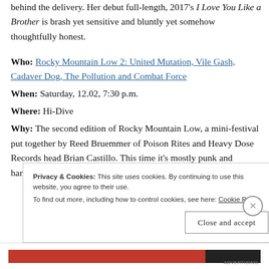behind the delivery. Her debut full-length, 2017's I Love You Like a Brother is brash yet sensitive and bluntly yet somehow thoughtfully honest.
Who: Rocky Mountain Low 2: United Mutation, Vile Gash, Cadaver Dog, The Pollution and Combat Force
When: Saturday, 12.02, 7:30 p.m.
Where: Hi-Dive
Why: The second edition of Rocky Mountain Low, a mini-festival put together by Reed Bruemmer of Poison Rites and Heavy Dose Records head Brian Castillo. This time it's mostly punk and hardcore including a rare
Privacy & Cookies: This site uses cookies. By continuing to use this website, you agree to their use. To find out more, including how to control cookies, see here: Cookie Policy
Close and accept